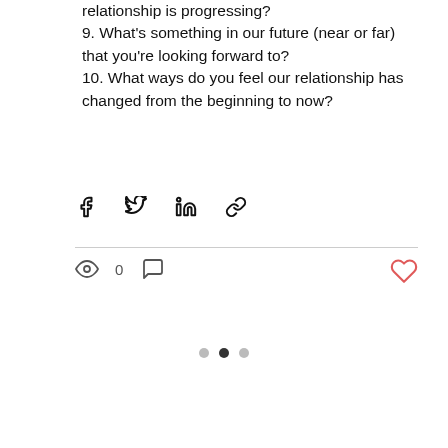relationship is progressing?
9. What's something in our future (near or far) that you're looking forward to?
10. What ways do you feel our relationship has changed from the beginning to now?
[Figure (other): Social share icons: Facebook, Twitter, LinkedIn, link/chain]
[Figure (other): Post stats bar: eye/views icon with count 0, comment icon, heart/like icon]
[Figure (other): Pagination dots: three dots, left grey, middle black (active), right grey]